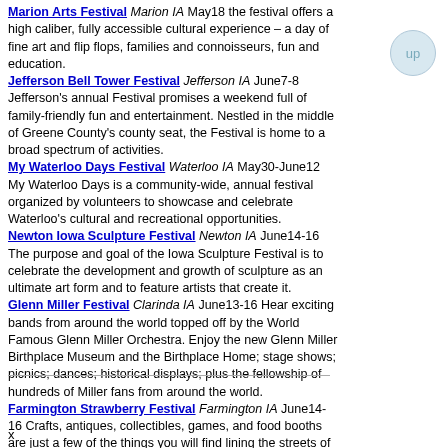Marion Arts Festival Marion IA May18 the festival offers a high caliber, fully accessible cultural experience – a day of fine art and flip flops, families and connoisseurs, fun and education.
Jefferson Bell Tower Festival Jefferson IA June7-8 Jefferson's annual Festival promises a weekend full of family-friendly fun and entertainment. Nestled in the middle of Greene County's county seat, the Festival is home to a broad spectrum of activities.
My Waterloo Days Festival Waterloo IA May30-June12 My Waterloo Days is a community-wide, annual festival organized by volunteers to showcase and celebrate Waterloo's cultural and recreational opportunities.
Newton Iowa Sculpture Festival Newton IA June14-16 The purpose and goal of the Iowa Sculpture Festival is to celebrate the development and growth of sculpture as an ultimate art form and to feature artists that create it.
Glenn Miller Festival Clarinda IA June13-16 Hear exciting bands from around the world topped off by the World Famous Glenn Miller Orchestra. Enjoy the new Glenn Miller Birthplace Museum and the Birthplace Home; stage shows; picnics; dances; historical displays; plus the fellowship of hundreds of Miller fans from around the world.
Farmington Strawberry Festival Farmington IA June14-16 Crafts, antiques, collectibles, games, and food booths are just a few of the things you will find lining the streets of the downtown area on these three days in June.